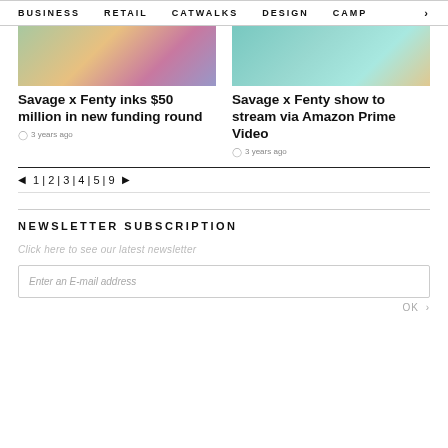BUSINESS   RETAIL   CATWALKS   DESIGN   CAMP  >
[Figure (photo): Cropped photo of a person wearing a lavender/purple lingerie top, colorful background]
[Figure (photo): Cropped photo of sparkly jewelry/accessories on a teal/mint green background]
Savage x Fenty inks $50 million in new funding round
3 years ago
Savage x Fenty show to stream via Amazon Prime Video
3 years ago
◄ 1 | 2 | 3 | 4 | 5 | 9 ►
NEWSLETTER SUBSCRIPTION
Click here to see our latest newsletter
Enter an E-mail address
OK >